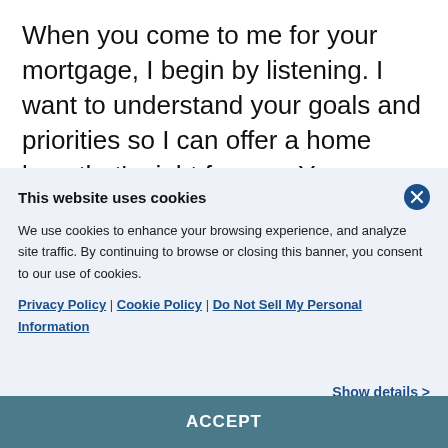When you come to me for your mortgage, I begin by listening. I want to understand your goals and priorities so I can offer a home loan that's right for you. You may be a first-time homebuyer or a long-time homeowner. You may be buying an
This website uses cookies
We use cookies to enhance your browsing experience, and analyze site traffic. By continuing to browse or closing this banner, you consent to our use of cookies.
Privacy Policy | Cookie Policy | Do Not Sell My Personal Information
Show details >
ACCEPT